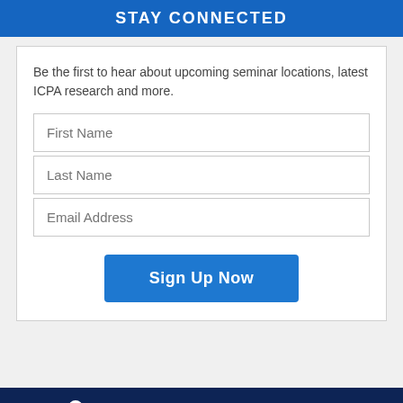STAY CONNECTED
Be the first to hear about upcoming seminar locations, latest ICPA research and more.
[Figure (screenshot): Sign-up form with First Name, Last Name, and Email Address input fields, and a blue 'Sign Up Now' button]
HOME